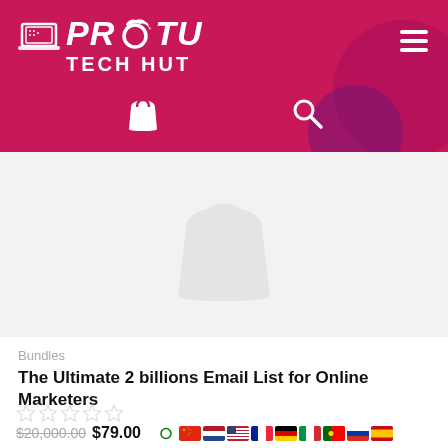PRO TECH HUT
[Figure (screenshot): Product image area with faint shopping bag watermark on light grey background]
Bundles
The Ultimate 2 billions Email List for Online Marketers
★★★★★ (0 ratings)
$20,000.00 $79.00